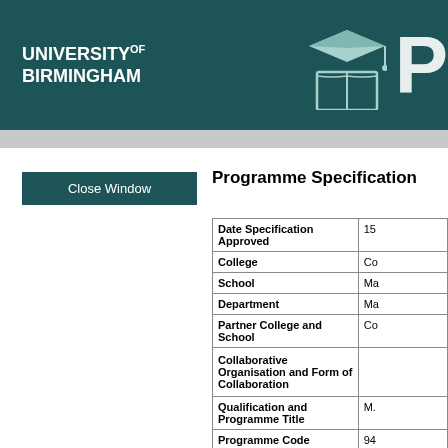UNIVERSITY OF BIRMINGHAM
Programme Specification
| Field | Value |
| --- | --- |
| Date Specification Approved | 15... |
| College | Co... |
| School | Ma... |
| Department | Ma... |
| Partner College and School | Co... |
| Collaborative Organisation and Form of Collaboration |  |
| Qualification and Programme Title | M.... |
| Programme Code | 94... |
| Delivery Location | Ca... |
| Language of Study | En... |